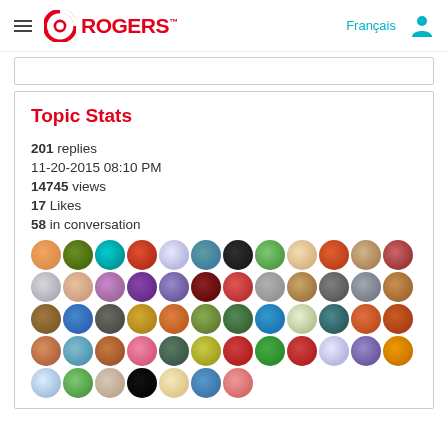Rogers — Français
Topic Stats
201 replies
11-20-2015 08:10 PM
14745 views
17 Likes
58 in conversation
[Figure (illustration): Grid of 56 circular user avatar icons representing the 58 users in conversation]